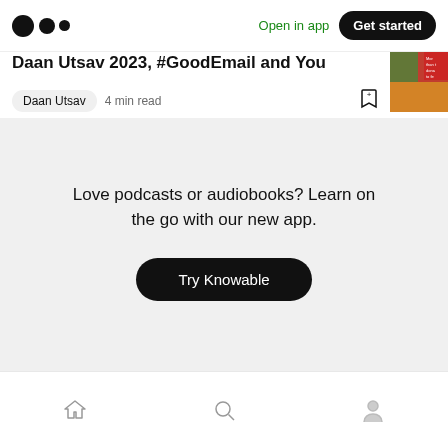Medium logo | Open in app | Get started
Daan Utsav 2023, #GoodEmail and You
Daan Utsav  4 min read
Love podcasts or audiobooks? Learn on the go with our new app.
Try Knowable
Home | Search | Profile